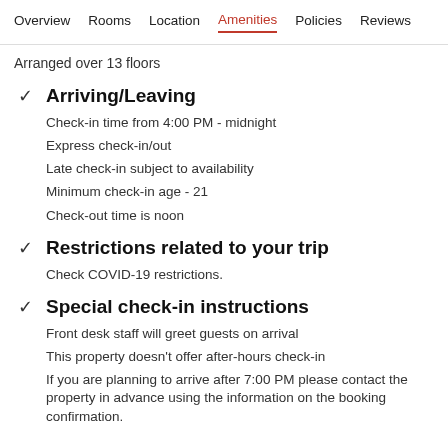Overview  Rooms  Location  Amenities  Policies  Reviews
Arranged over 13 floors
Arriving/Leaving
Check-in time from 4:00 PM - midnight
Express check-in/out
Late check-in subject to availability
Minimum check-in age - 21
Check-out time is noon
Restrictions related to your trip
Check COVID-19 restrictions.
Special check-in instructions
Front desk staff will greet guests on arrival
This property doesn't offer after-hours check-in
If you are planning to arrive after 7:00 PM please contact the property in advance using the information on the booking confirmation.